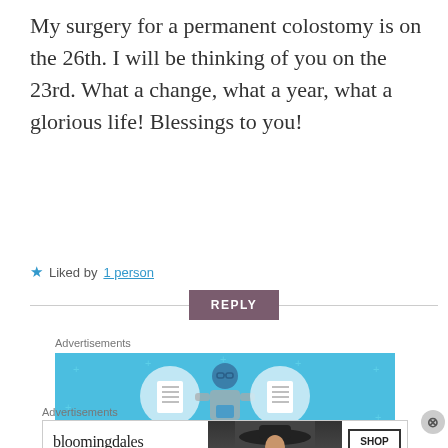My surgery for a permanent colostomy is on the 26th. I will be thinking of you on the 23rd. What a change, what a year, what a glorious life! Blessings to you!
★ Liked by 1 person
REPLY
Advertisements
[Figure (illustration): Blue advertisement banner with illustrated figure of a person wearing glasses flanked by two circular notebook/list icons, with small plus signs scattered in background]
Advertisements
[Figure (illustration): Bloomingdale's advertisement banner: logo text 'bloomingdales' with tagline 'View Today's Top Deals!' and a woman in a wide brim hat, with a 'SHOP NOW >' button]